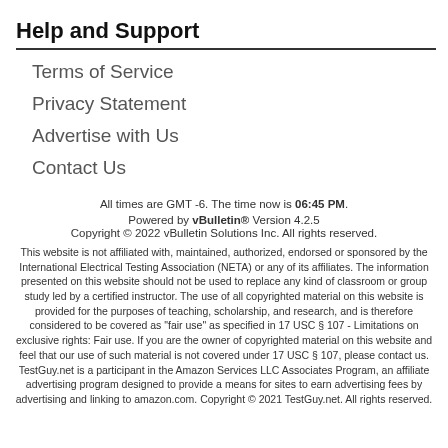Help and Support
Terms of Service
Privacy Statement
Advertise with Us
Contact Us
All times are GMT -6. The time now is 06:45 PM.
Powered by vBulletin® Version 4.2.5
Copyright © 2022 vBulletin Solutions Inc. All rights reserved.
This website is not affiliated with, maintained, authorized, endorsed or sponsored by the International Electrical Testing Association (NETA) or any of its affiliates. The information presented on this website should not be used to replace any kind of classroom or group study led by a certified instructor. The use of all copyrighted material on this website is provided for the purposes of teaching, scholarship, and research, and is therefore considered to be covered as "fair use" as specified in 17 USC § 107 - Limitations on exclusive rights: Fair use. If you are the owner of copyrighted material on this website and feel that our use of such material is not covered under 17 USC § 107, please contact us. TestGuy.net is a participant in the Amazon Services LLC Associates Program, an affiliate advertising program designed to provide a means for sites to earn advertising fees by advertising and linking to amazon.com. Copyright © 2021 TestGuy.net. All rights reserved.